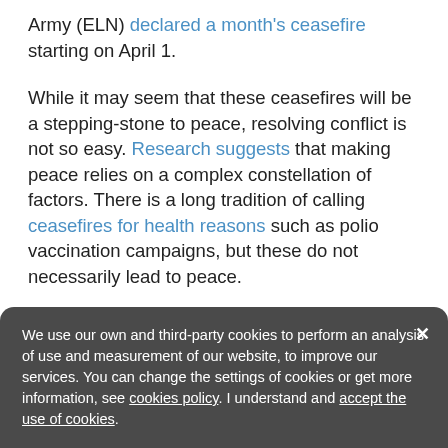Army (ELN) declared a month's ceasefire starting on April 1.
While it may seem that these ceasefires will be a stepping-stone to peace, resolving conflict is not so easy. Research suggests that making peace relies on a complex constellation of factors. There is a long tradition of calling ceasefires for health reasons such as polio vaccination campaigns, but these do not necessarily lead to peace.
Governments are actually unlikely to make peace in the middle of a health crisis – they could just as easily see the opportunity it provides to further weaken their enemy, much in the same way as the coronavirus presses pause on a conflict, but doesn't resolve the underlying issues driving the conflict, such as the territory that groups control, the
We use our own and third-party cookies to perform an analysis of use and measurement of our website, to improve our services. You can change the settings of cookies or get more information, see cookies policy. I understand and accept the use of cookies.